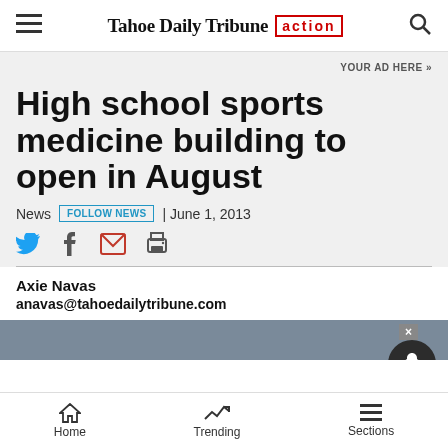Tahoe Daily Tribune action
YOUR AD HERE »
High school sports medicine building to open in August
News | FOLLOW NEWS | June 1, 2013
Axie Navas
anavas@tahoedailytribune.com
Home  Trending  Sections